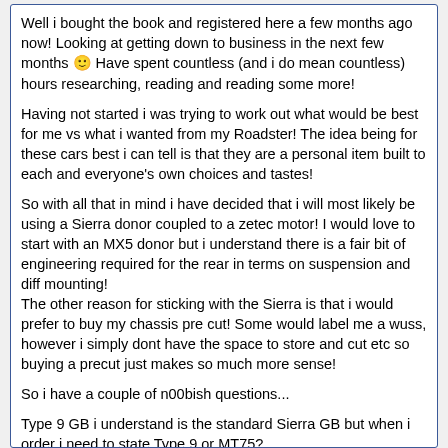Well i bought the book and registered here a few months ago now! Looking at getting down to business in the next few months 🙂 Have spent countless (and i do mean countless) hours researching, reading and reading some more!

Having not started i was trying to work out what would be best for me vs what i wanted from my Roadster! The idea being for these cars best i can tell is that they are a personal item built to each and everyone's own choices and tastes!

So with all that in mind i have decided that i will most likely be using a Sierra donor coupled to a zetec motor! I would love to start with an MX5 donor but i understand there is a fair bit of engineering required for the rear in terms on suspension and diff mounting!
The other reason for sticking with the Sierra is that i would prefer to buy my chassis pre cut! Some would label me a wuss, however i simply dont have the space to store and cut etc so buying a precut just makes so much more sense!

So i have a couple of n00bish questions...

Type 9 GB i understand is the standard Sierra GB but when i order i need to state Type 9 or MT75?
Where does the MT75 come from? Is this the mazda or a different type of Ford box? If i is how do i tell them apart?

Do i want an MT75 or a Type 9?

Anyone close to Milton Keynes that would want to give me